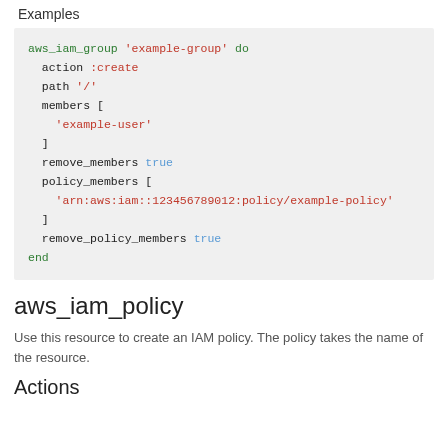Examples
aws_iam_group 'example-group' do
  action :create
  path '/'
  members [
    'example-user'
  ]
  remove_members true
  policy_members [
    'arn:aws:iam::123456789012:policy/example-policy'
  ]
  remove_policy_members true
end
aws_iam_policy
Use this resource to create an IAM policy. The policy takes the name of the resource.
Actions